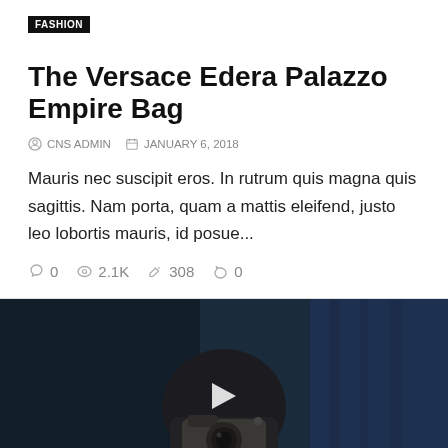FASHION
The Versace Edera Palazzo Empire Bag
CNS ADMIN   JANUARY 6, 2018
Mauris nec suscipit eros. In rutrum quis magna quis sagittis. Nam porta, quam a mattis eleifend, justo leo lobortis mauris, id posue...
0   2.1K   308   0
[Figure (photo): Person in dark hoodie holding a camera up to their face, photographing the viewer. Dark blue textured background. Play button overlay in center. 'TOP' button in bottom right corner.]